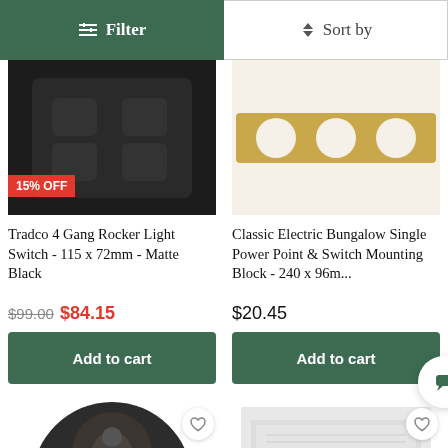[Figure (screenshot): Filter and Sort by toolbar buttons]
[Figure (photo): Tradco 4 Gang Rocker Light Switch matte black with 15% OFF badge]
[Figure (photo): Classic Electric Bungalow Single Power Point & Switch Mounting Block wood/timber colored]
Tradco 4 Gang Rocker Light Switch - 115 x 72mm - Matte Black
Classic Electric Bungalow Single Power Point & Switch Mounting Block - 240 x 96m...
$99.00 $84.15
$20.45
Add to cart
Add to cart
[Figure (photo): Dark bronze round light switch or dimmer knob, partial view]
[Figure (photo): White rectangular electrical plate, partial view]